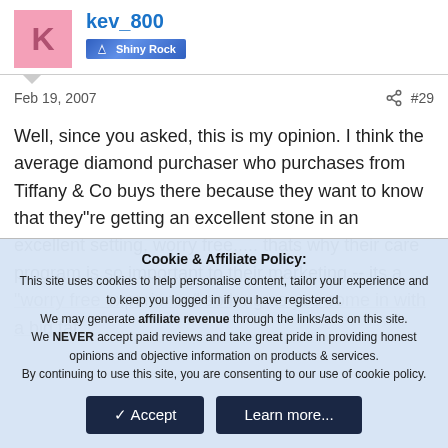kev_800 — Shiny Rock
Feb 19, 2007   #29
Well, since you asked, this is my opinion. I think the average diamond purchaser who purchases from Tiffany & Co buys there because they want to know that they"re getting an excellent stone in an excellent setting, worry free..... thats why their care program is so important to their marketing -- its a "worry free experience" so long as you come in with a big fat
Cookie & Affiliate Policy:
This site uses cookies to help personalise content, tailor your experience and to keep you logged in if you have registered.
We may generate affiliate revenue through the links/ads on this site.
We NEVER accept paid reviews and take great pride in providing honest opinions and objective information on products & services.
By continuing to use this site, you are consenting to our use of cookie policy.